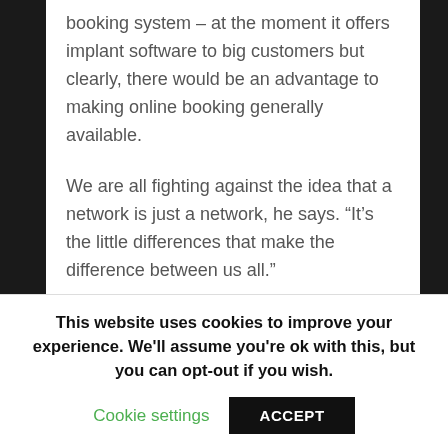booking system – at the moment it offers implant software to big customers but clearly, there would be an advantage to making online booking generally available.
We are all fighting against the idea that a network is just a network, he says. “It’s the little differences that make the difference between us all.”
Recruiting and retaining the right hauliers is a key issue for any network. Cramley points out that it is relatively easy for members to leave the smaller networks as there are not massive joining fees.
This website uses cookies to improve your experience. We’ll assume you’re ok with this, but you can opt-out if you wish.
Cookie settings
ACCEPT